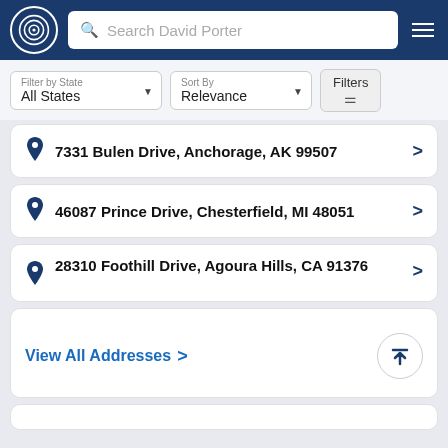Search David Porter
Filter by State: All States | Sort By: Relevance | Filters
7331 Bulen Drive, Anchorage, AK 99507
46087 Prince Drive, Chesterfield, MI 48051
28310 Foothill Drive, Agoura Hills, CA 91376
View All Addresses